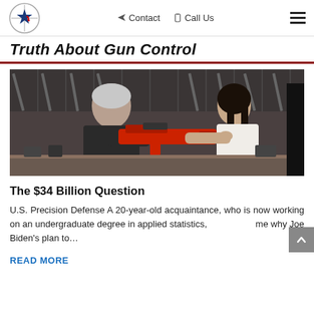Contact  Call Us
Truth About Gun Control
[Figure (photo): A gun shop scene: an older man with gray hair and beard passes a red rifle to a young dark-haired woman in a sleeveless top. Firearms and gun racks visible in the background.]
The $34 Billion Question
U.S. Precision Defense A 20-year-old acquaintance, who is now working on an undergraduate degree in applied statistics, [asked] me why Joe Biden’s plan to…
READ MORE